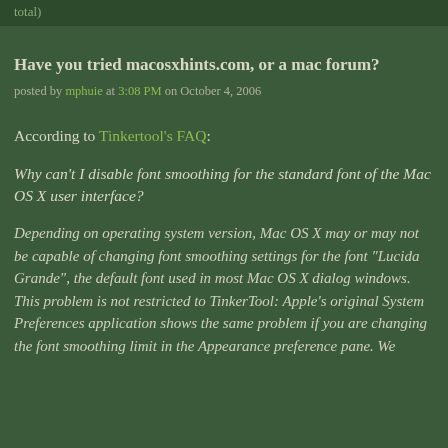total)
Have you tried macosxhints.com, or a mac forum?
posted by mphuie at 3:08 PM on October 4, 2006
According to Tinkertool's FAQ:
Why can't I disable font smoothing for the standard font of the Mac OS X user interface?
Depending on operating system version, Mac OS X may or may not be capable of changing font smoothing settings for the font "Lucida Grande", the default font used in most Mac OS X dialog windows. This problem is not restricted to TinkerTool: Apple's original System Preferences application shows the same problem if you are changing the font smoothing limit in the Appearance preference pane. We